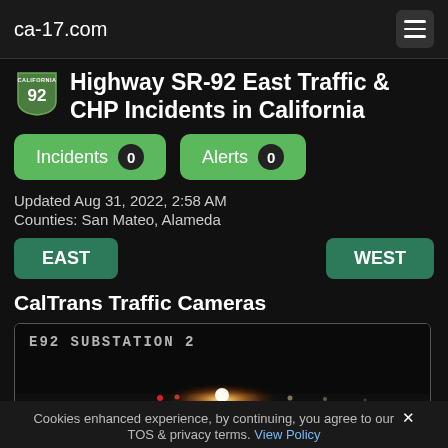ca-17.com
Highway SR-92 East Traffic & CHP Incidents in California
Incidents 0   Alerts 0
Updated Aug 31, 2022, 2:58 AM
Counties: San Mateo, Alameda
EAST   WEST
CalTrans Traffic Cameras
[Figure (screenshot): Night traffic camera image labeled E92 SUBSTATION 2, showing a dark road with bright headlights/lights visible in the distance]
Cookies enhanced experience, by continuing, you agree to our TOS & privacy terms. View Policy ✕